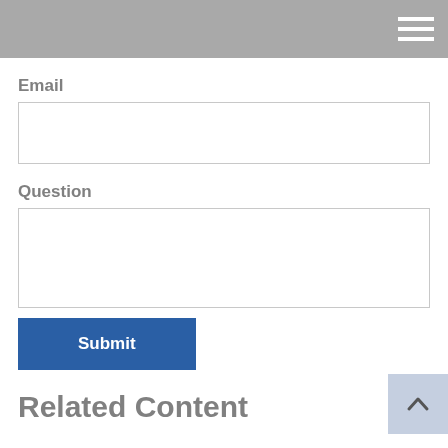[Figure (screenshot): Gray navigation header bar with a white hamburger menu icon in the top right corner]
Email
[Figure (screenshot): Empty email input text field with light gray border]
Question
[Figure (screenshot): Empty question textarea with light gray border and resize handle]
[Figure (screenshot): Blue Submit button]
Related Content
[Figure (screenshot): Light blue scroll-to-top button with upward chevron arrow]